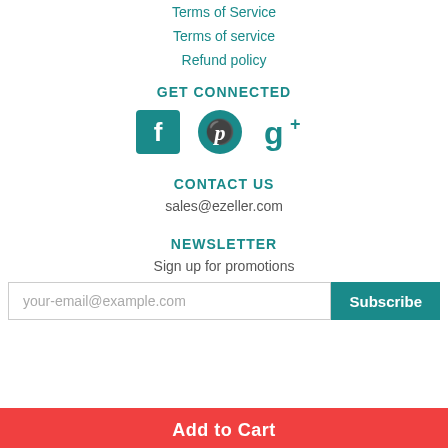Terms of Service
Terms of service
Refund policy
GET CONNECTED
[Figure (illustration): Social media icons: Facebook, Pinterest, Google+]
CONTACT US
sales@ezeller.com
NEWSLETTER
Sign up for promotions
your-email@example.com  Subscribe
Add to Cart